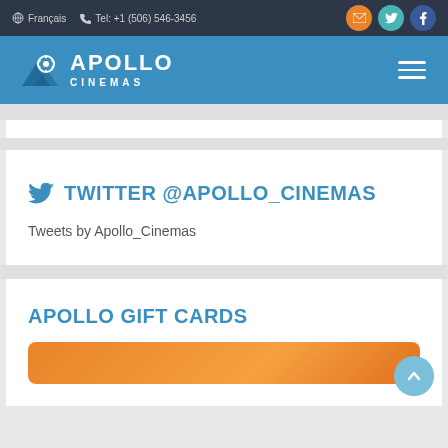Français  Tel: +1 (506) 546-3456
[Figure (logo): Apollo Cinemas logo with navigation bar]
TWITTER @APOLLO_CINEMAS
Tweets by Apollo_Cinemas
APOLLO GIFT CARDS